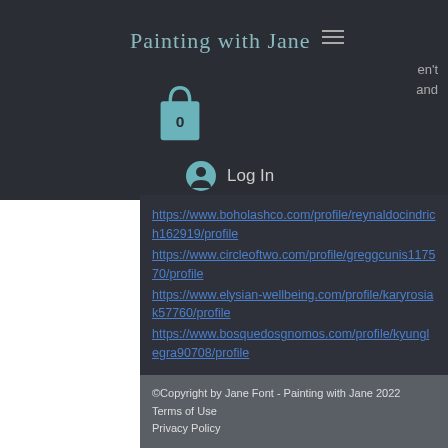Painting with Jane
en't and
[Figure (illustration): Teal shopping bag icon with number 0]
Log In
https://www.boholashco.com/profile/reynaldocindrich162919/profile
https://www.circleoftwo.com/profile/greggcunis117570/profile
https://www.elysian-wellbeing.com/profile/karyrosiak57760/profile
https://www.bosquedosgnomos.com/profile/kyunglegra90708/profile
©Copyright by Jane Font - Painting with Jane 2022
Terms of Use
Privacy Policy